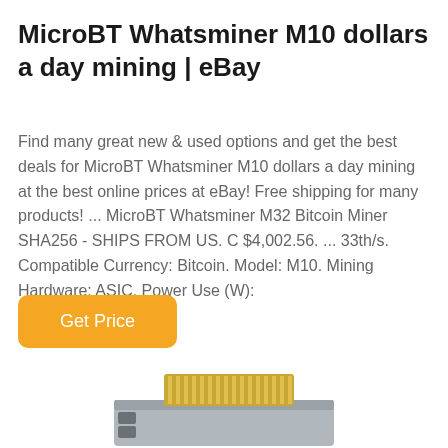MicroBT Whatsminer M10 dollars a day mining | eBay
Find many great new & used options and get the best deals for MicroBT Whatsminer M10 dollars a day mining at the best online prices at eBay! Free shipping for many products! ... MicroBT Whatsminer M32 Bitcoin Miner SHA256 - SHIPS FROM US. C $4,002.56. ... 33th/s. Compatible Currency: Bitcoin. Model: M10. Mining Hardware: ASIC. Power Use (W):
[Figure (other): Get Price button — orange rounded rectangle with white text]
[Figure (photo): Partially visible photo of a MicroBT Whatsminer M10 ASIC mining hardware device, showing the grey metal casing and a gold-coloured heat sink on top]